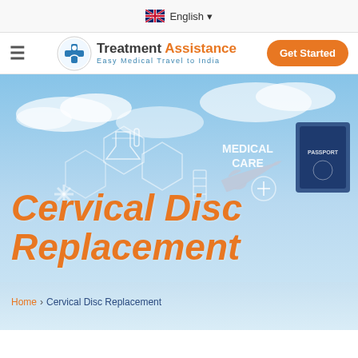English
[Figure (logo): Treatment Assistance logo with blue cross icon and tagline 'Easy Medical Travel to India']
[Figure (photo): Hero banner with medical care imagery: blue sky background, hexagonal medical icons, airplane, stethoscope, passport, with text 'MEDICAL CARE' overlaid]
Cervical Disc Replacement
Home > Cervical Disc Replacement